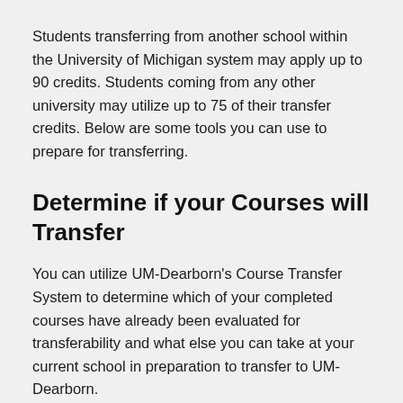Students transferring from another school within the University of Michigan system may apply up to 90 credits. Students coming from any other university may utilize up to 75 of their transfer credits. Below are some tools you can use to prepare for transferring.
Determine if your Courses will Transfer
You can utilize UM-Dearborn's Course Transfer System to determine which of your completed courses have already been evaluated for transferability and what else you can take at your current school in preparation to transfer to UM-Dearborn.